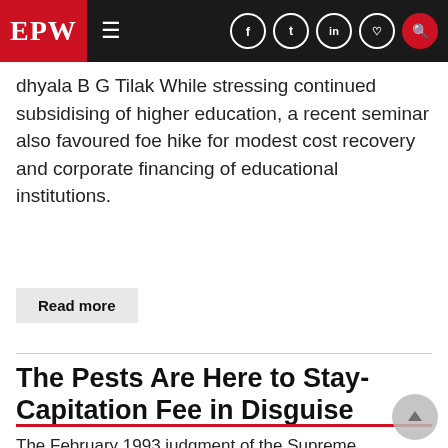EPW
dhyala B G Tilak While stressing continued subsidising of higher education, a recent seminar also favoured foe hike for modest cost recovery and corporate financing of educational institutions.
Read more
The Pests Are Here to Stay- Capitation Fee in Disguise
The February 1993 judgment of the Supreme Court raises some important issues relating to capitation fee colleges in India, besides practically allowing charging